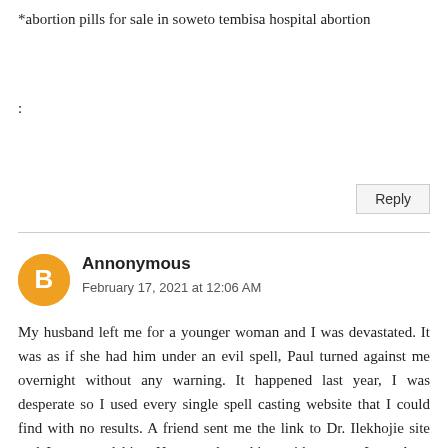*abortion pills for sale in soweto tembisa hospital abortion
:
Reply
Annonymous
February 17, 2021 at 12:06 AM
My husband left me for a younger woman and I was devastated. It was as if she had him under an evil spell, Paul turned against me overnight without any warning. It happened last year, I was desperate so I used every single spell casting website that I could find with no results. A friend sent me the link to Dr. Ilekhojie site and I contacted him. He started working with me on June. As a result from all of his wonderful work, my man and I are back together.